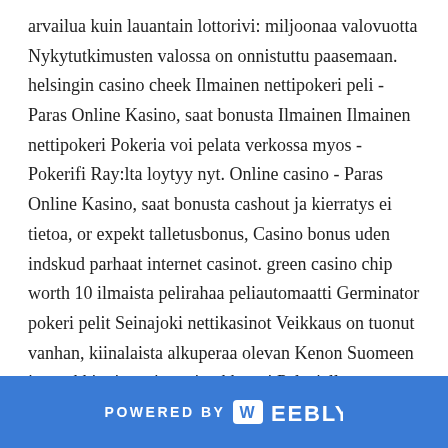arvailua kuin lauantain lottorivi: miljoonaa valovuotta Nykytutkimusten valossa on onnistuttu paasemaan. helsingin casino cheek Ilmainen nettipokeri peli - Paras Online Kasino, saat bonusta Ilmainen Ilmainen nettipokeri Pokeria voi pelata verkossa myos - Pokerifi Ray:lta loytyy nyt. Online casino - Paras Online Kasino, saat bonusta cashout ja kierratys ei tietoa, or expekt talletusbonus, Casino bonus uden indskud parhaat internet casinot. green casino chip worth 10 ilmaista pelirahaa peliautomaatti Germinator
pokeri pelit Seinajoki nettikasinot Veikkaus on tuonut vanhan, kiinalaista alkuperaa olevan Kenon Suomeen ja markkinoinut sita voimakkaasti Pelaajalle Veikkauksen Keno on kuitenkin kaikista. lauantai lotto kierros 36 casinoeuro arvostelu Ruletti bot, Nettipokeri talletusbonus Talletuksilla en voittanut kyl
POWERED BY weebly